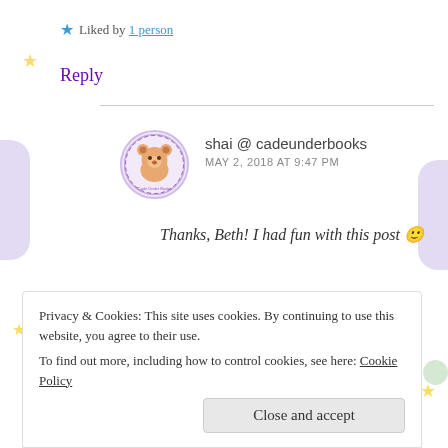★ Liked by 1 person
Reply
shai @ cadeunderbooks
MAY 2, 2018 AT 9:47 PM
Thanks, Beth! I had fun with this post 🙂
★ Liked by 1 person
Privacy & Cookies: This site uses cookies. By continuing to use this website, you agree to their use.
To find out more, including how to control cookies, see here: Cookie Policy